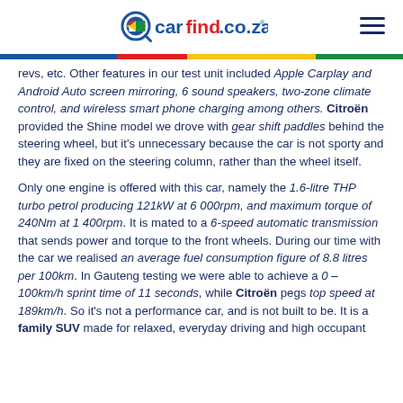carfind.co.za
revs, etc. Other features in our test unit included Apple Carplay and Android Auto screen mirroring, 6 sound speakers, two-zone climate control, and wireless smart phone charging among others. Citroën provided the Shine model we drove with gear shift paddles behind the steering wheel, but it's unnecessary because the car is not sporty and they are fixed on the steering column, rather than the wheel itself.
Only one engine is offered with this car, namely the 1.6-litre THP turbo petrol producing 121kW at 6 000rpm, and maximum torque of 240Nm at 1 400rpm. It is mated to a 6-speed automatic transmission that sends power and torque to the front wheels. During our time with the car we realised an average fuel consumption figure of 8.8 litres per 100km. In Gauteng testing we were able to achieve a 0 – 100km/h sprint time of 11 seconds, while Citroën pegs top speed at 189km/h. So it's not a performance car, and is not built to be. It is a family SUV made for relaxed, everyday driving and high occupant